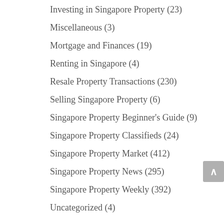Investing in Singapore Property (23)
Miscellaneous (3)
Mortgage and Finances (19)
Renting in Singapore (4)
Resale Property Transactions (230)
Selling Singapore Property (6)
Singapore Property Beginner's Guide (9)
Singapore Property Classifieds (24)
Singapore Property Market (412)
Singapore Property News (295)
Singapore Property Weekly (392)
Uncategorized (4)